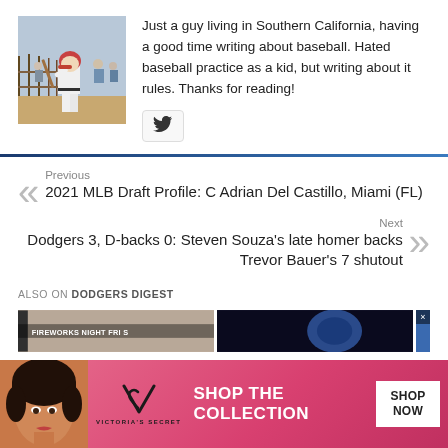[Figure (photo): Author photo: person in white baseball uniform at bat in outdoor field]
Just a guy living in Southern California, having a good time writing about baseball. Hated baseball practice as a kid, but writing about it rules. Thanks for reading!
[Figure (logo): Twitter bird icon button]
Previous
2021 MLB Draft Profile: C Adrian Del Castillo, Miami (FL)
Next
Dodgers 3, D-backs 0: Steven Souza's late homer backs Trevor Bauer's 7 shutout
ALSO ON DODGERS DIGEST
[Figure (screenshot): Thumbnail images of articles below 'Also on Dodgers Digest' with Fireworks Night text overlay]
[Figure (photo): Victoria's Secret advertisement banner with model, VS logo, VICTORIA'S SECRET text, SHOP THE COLLECTION, and SHOP NOW button]